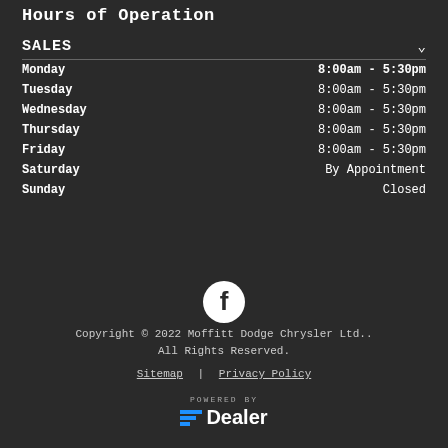Hours of Operation
SALES
| Day | Hours |
| --- | --- |
| Monday | 8:00am - 5:30pm |
| Tuesday | 8:00am - 5:30pm |
| Wednesday | 8:00am - 5:30pm |
| Thursday | 8:00am - 5:30pm |
| Friday | 8:00am - 5:30pm |
| Saturday | By Appointment |
| Sunday | Closed |
[Figure (logo): Facebook icon circle logo]
Copyright © 2022 Moffitt Dodge Chrysler Ltd.. All Rights Reserved.
Sitemap | Privacy Policy
[Figure (logo): eDealer logo with blue horizontal bars and white Dealer text, POWERED BY label above]